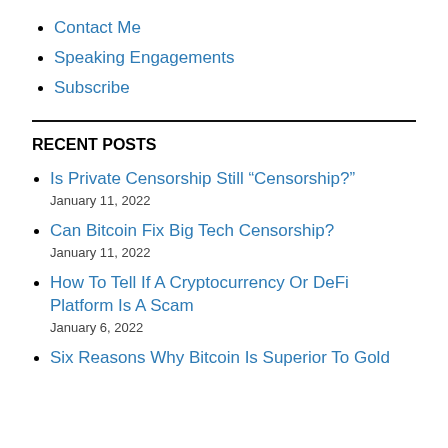Contact Me
Speaking Engagements
Subscribe
RECENT POSTS
Is Private Censorship Still “Censorship?”
January 11, 2022
Can Bitcoin Fix Big Tech Censorship?
January 11, 2022
How To Tell If A Cryptocurrency Or DeFi Platform Is A Scam
January 6, 2022
Six Reasons Why Bitcoin Is Superior To Gold